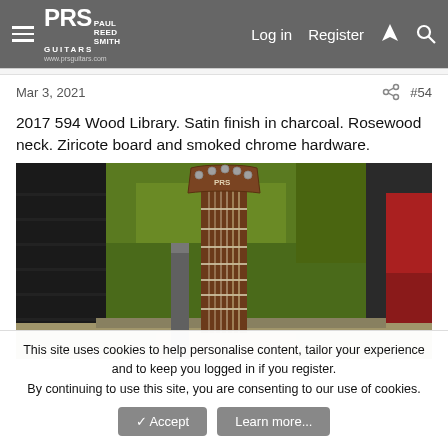PRS Paul Reed Smith Guitars — www.prsguitars.com | Log in | Register
Mar 3, 2021  #54
2017 594 Wood Library. Satin finish in charcoal. Rosewood neck. Ziricote board and smoked chrome hardware.
[Figure (photo): Outdoor photo of a PRS guitar headstock (594 Wood Library) showing tuning pegs and fretboard, with green bushes, dark wood siding, and a red car in the background.]
This site uses cookies to help personalise content, tailor your experience and to keep you logged in if you register.
By continuing to use this site, you are consenting to our use of cookies.